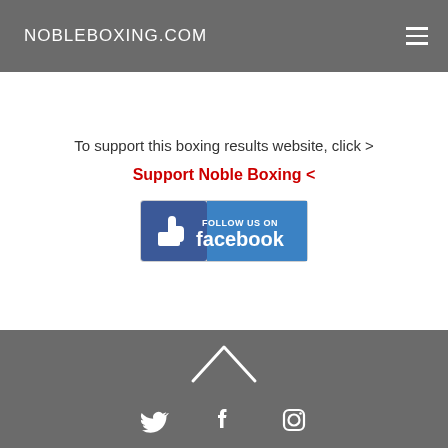NOBLEBOXING.COM
To support this boxing results website, click >
Support Noble Boxing <
[Figure (logo): Follow us on Facebook badge — blue rounded rectangle button with thumbs up icon and text 'FOLLOW US ON facebook']
[Figure (other): Footer area with upward chevron/caret arrow icon and social media icons for Twitter, Facebook, and Instagram on a grey background]